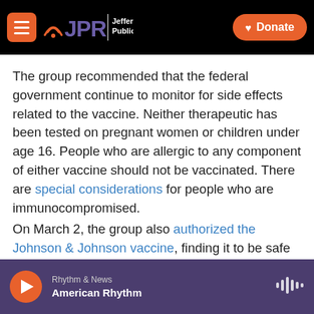JPR Jefferson Public Radio | Donate
The group recommended that the federal government continue to monitor for side effects related to the vaccine. Neither therapeutic has been tested on pregnant women or children under age 16. People who are allergic to any component of either vaccine should not be vaccinated. There are special considerations for people who are immunocompromised.
On March 2, the group also authorized the Johnson & Johnson vaccine, finding it to be safe and effective.
Rhythm & News | American Rhythm